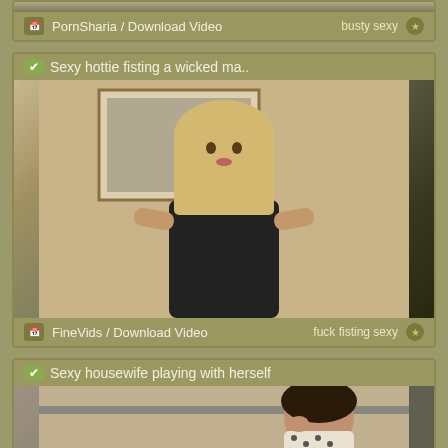[Figure (screenshot): Top of page showing partial card footer with PornSharia / Download Video and tags 'busty sexy']
[Figure (photo): Card with title 'Sexy hottie fisting a wicked ma..' and photo of blonde woman in black dress, footer: FineVids / Download Video, tags: fuck fisting sexy]
[Figure (photo): Card with title 'Sexy housewife playing with herself' and partial photo of dark-haired woman]